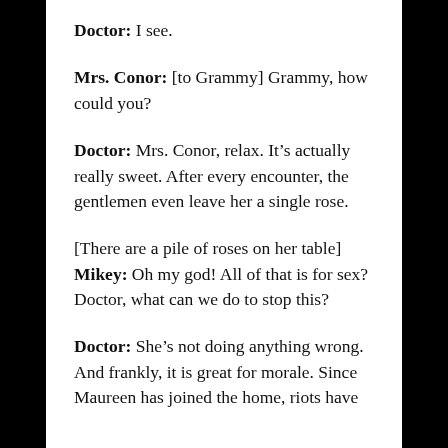Doctor: I see.
Mrs. Conor: [to Grammy] Grammy, how could you?
Doctor: Mrs. Conor, relax. It’s actually really sweet. After every encounter, the gentlemen even leave her a single rose.
[There are a pile of roses on her table] Mikey: Oh my god! All of that is for sex? Doctor, what can we do to stop this?
Doctor: She’s not doing anything wrong. And frankly, it is great for morale. Since Maureen has joined the home, riots have